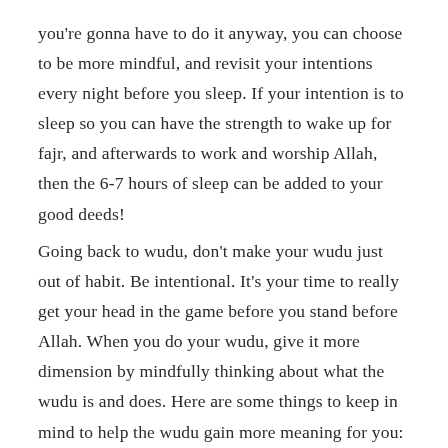you're gonna have to do it anyway, you can choose to be more mindful, and revisit your intentions every night before you sleep. If your intention is to sleep so you can have the strength to wake up for fajr, and afterwards to work and worship Allah, then the 6-7 hours of sleep can be added to your good deeds!
Going back to wudu, don't make your wudu just out of habit. Be intentional. It's your time to really get your head in the game before you stand before Allah. When you do your wudu, give it more dimension by mindfully thinking about what the wudu is and does. Here are some things to keep in mind to help the wudu gain more meaning for you: